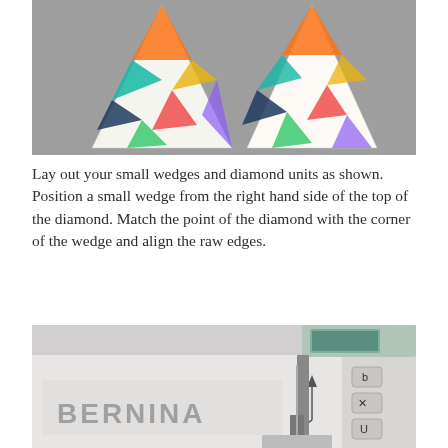[Figure (photo): Two triangular fabric wedges with colorful geometric patterns (orange, teal, yellow, navy triangles) laid on a gray surface, pointing downward.]
Lay out your small wedges and diamond units as shown. Position a small wedge from the right hand side of the top of the diamond. Match the point of the diamond with the corner of the wedge and align the raw edges.
[Figure (photo): Close-up photo of a BERNINA sewing machine showing the throat plate area with a needle, presser foot, and sewing machine controls on the right side.]